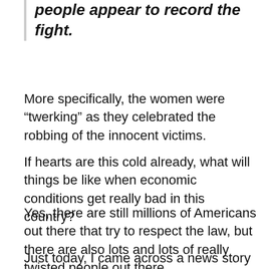people appear to record the fight.
More specifically, the women were “twerking” as they celebrated the robbing of the innocent victims.
If hearts are this cold already, what will things be like when economic conditions get really bad in this country?
Yes, there are still millions of Americans out there that try to respect the law, but there are also lots and lots of really twisted people out there.
Just today, I came across a news story about